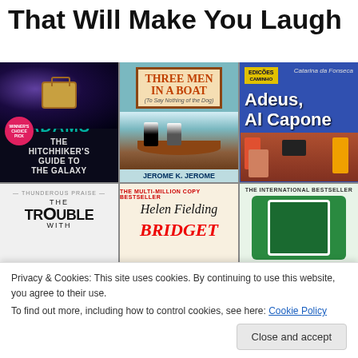That Will Make You Laugh
[Figure (photo): Grid of six book covers: The Hitchhiker's Guide to the Galaxy by Douglas Adams, Three Men in a Boat by Jerome K. Jerome, Adeus Al Capone by Catarina da Fonseca, The Trouble With... (partial), Helen Fielding - Bridget (partial), and The International Bestseller (partial)]
Privacy & Cookies: This site uses cookies. By continuing to use this website, you agree to their use.
To find out more, including how to control cookies, see here: Cookie Policy
Close and accept